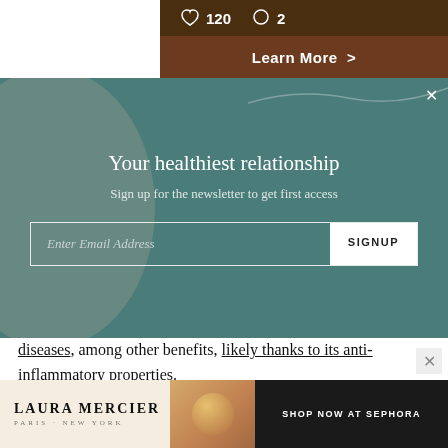[Figure (screenshot): Top bar showing heart icon with 120 likes, comment icon with 2 comments, and a brown 'Learn More >' button bar]
[Figure (screenshot): Newsletter signup overlay on teal/dark cyan background with decorative circle, title 'Your healthiest relationship', subtitle, and email signup form with SIGNUP button]
diseases, among other benefits, likely thanks to its anti-inflammatory properties.
4. Sage
Sage has been utilized traditionally for its brain
[Figure (screenshot): Laura Mercier advertisement banner with logo, product image, and 'SHOP NOW AT SEPHORA' call to action]